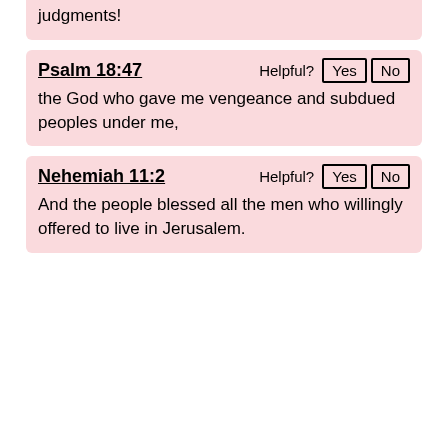judgments!
Psalm 18:47
the God who gave me vengeance and subdued peoples under me,
Nehemiah 11:2
And the people blessed all the men who willingly offered to live in Jerusalem.